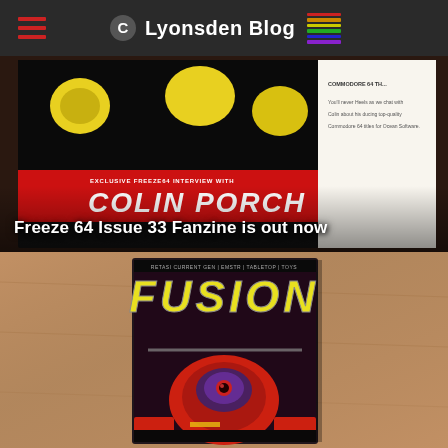Lyonsden Blog
[Figure (photo): Photo of Freeze 64 Issue 33 fanzine cover showing colorful cartoon characters, a red band with 'EXCLUSIVE FREEZE64 INTERVIEW WITH COLIN PORCH' text, and side text about Commodore 64 titles for Ocean Software]
Freeze 64 Issue 33 Fanzine is out now
[Figure (photo): Photo of Fusion magazine on a wooden table, showing the FUSION title in yellow pixel-style letters over a red robot/mech helicopter cover illustration]